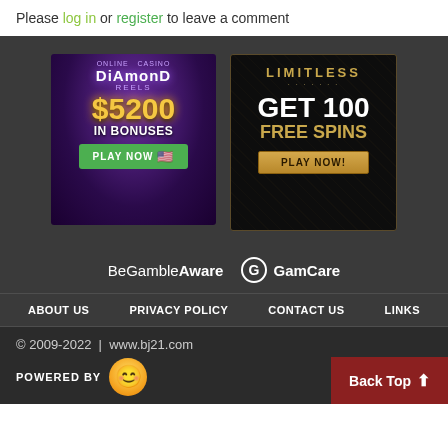Please log in or register to leave a comment
[Figure (illustration): Diamond Reels casino ad: $5200 in bonuses, PLAY NOW button with US flag]
[Figure (illustration): Limitless casino ad: GET 100 FREE SPINS, PLAY NOW! button]
[Figure (logo): BeGambleAware and GamCare logos]
ABOUT US   PRIVACY POLICY   CONTACT US   LINKS
© 2009-2022 | www.bj21.com
POWERED BY
Back Top